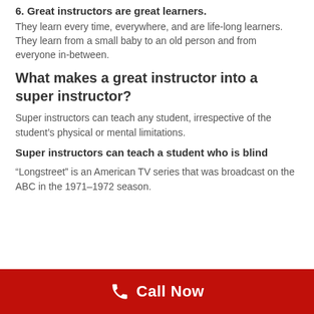6. Great instructors are great learners. They learn every time, everywhere, and are life-long learners. They learn from a small baby to an old person and from everyone in-between.
What makes a great instructor into a super instructor?
Super instructors can teach any student, irrespective of the student's physical or mental limitations.
Super instructors can teach a student who is blind
“Longstreet” is an American TV series that was broadcast on the ABC in the 1971–1972 season.
Call Now